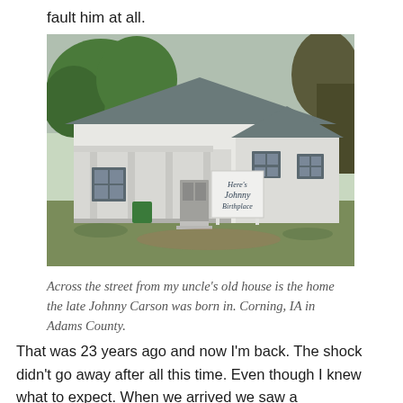fault him at all.
[Figure (photo): A white single-story house with a front porch and columns, surrounded by green grass and trees. A sign in front reads 'Here's Johnny Birthplace'.]
Across the street from my uncle's old house is the home the late Johnny Carson was born in. Corning, IA in Adams County.
That was 23 years ago and now I'm back. The shock didn't go away after all this time. Even though I knew what to expect. When we arrived we saw a